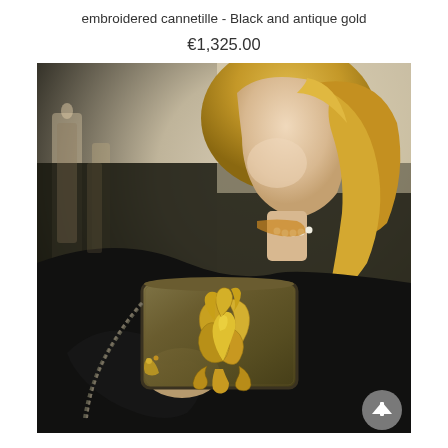embroidered cannetille - Black and antique gold
€1,325.00
[Figure (photo): A blonde woman dressed in black holding a dark olive/gold embroidered handbag with a gold rooster or phoenix emblem on the front. The bag has a chain strap. She is wearing pearls and a scarf with text. The background is a warm interior setting.]